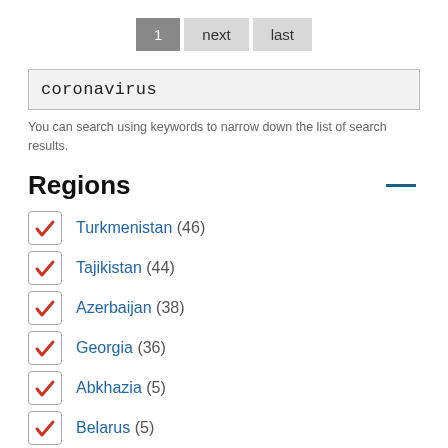1  next  last
coronavirus
You can search using keywords to narrow down the list of search results.
Regions
Turkmenistan (46)
Tajikistan (44)
Azerbaijan (38)
Georgia (36)
Abkhazia (5)
Belarus (5)